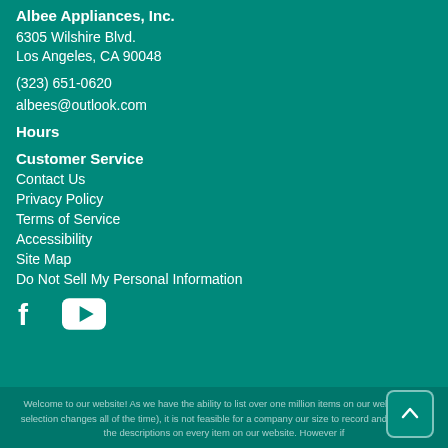Albee Appliances, Inc.
6305 Wilshire Blvd.
Los Angeles, CA 90048
(323) 651-0620
albees@outlook.com
Hours
Customer Service
Contact Us
Privacy Policy
Terms of Service
Accessibility
Site Map
Do Not Sell My Personal Information
[Figure (other): Social media icons: Facebook and YouTube]
Welcome to our website! As we have the ability to list over one million items on our website (our selection changes all of the time), it is not feasible for a company our size to record and playback the descriptions on every item on our website. However if